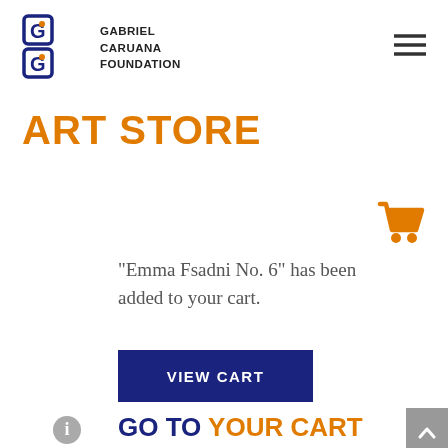Gabriel Caruana Foundation
ART STORE
[Figure (illustration): Orange shopping cart icon]
“Emma Fsadni No. 6” has been added to your cart.
VIEW CART
GO TO YOUR CART AND COMPLETE